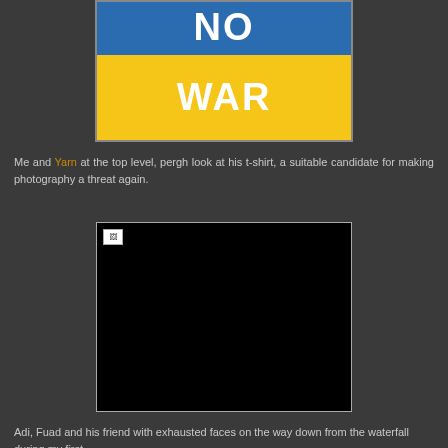[Figure (illustration): Ukrainian flag colors banner: top half blue with text 'NO', bottom half yellow with text 'WAR']
Me and Yarn at the top level, pergh look at his t-shirt, a suitable candidate for making photography a threat again.
[Figure (photo): A mostly black/dark photo with a small broken image icon in the top-left corner, bordered by a thin light gray border]
Adi, Fuad and his friend with exhausted faces on the way down from the waterfall during my first